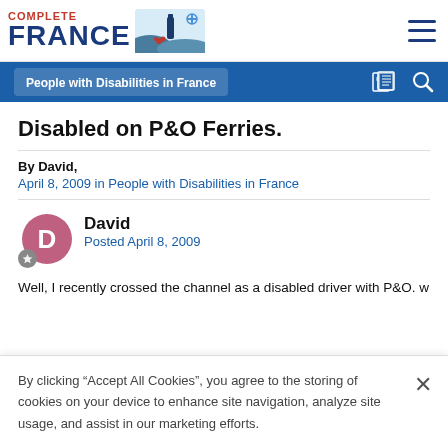Complete France
People with Disabilities in France
Disabled on P&O Ferries.
By David,
April 8, 2009 in People with Disabilities in France
David
Posted April 8, 2009
Well, I recently crossed the channel as a disabled driver with P&O. w
By clicking “Accept All Cookies”, you agree to the storing of cookies on your device to enhance site navigation, analyze site usage, and assist in our marketing efforts.